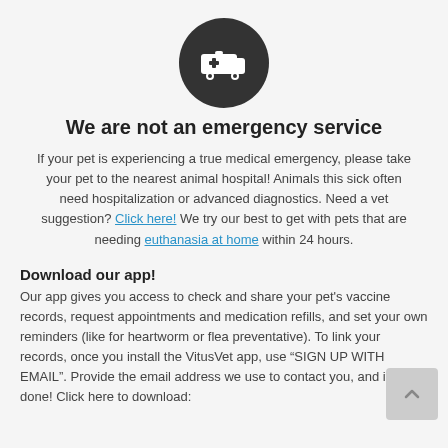[Figure (illustration): Dark circular icon with white ambulance/medical vehicle symbol]
We are not an emergency service
If your pet is experiencing a true medical emergency, please take your pet to the nearest animal hospital! Animals this sick often need hospitalization or advanced diagnostics. Need a vet suggestion? Click here! We try our best to get with pets that are needing euthanasia at home within 24 hours.
Download our app!
Our app gives you access to check and share your pet's vaccine records, request appointments and medication refills, and set your own reminders (like for heartworm or flea preventative). To link your records, once you install the VitusVet app, use “SIGN UP WITH EMAIL”. Provide the email address we use to contact you, and it’s done! Click here to download: